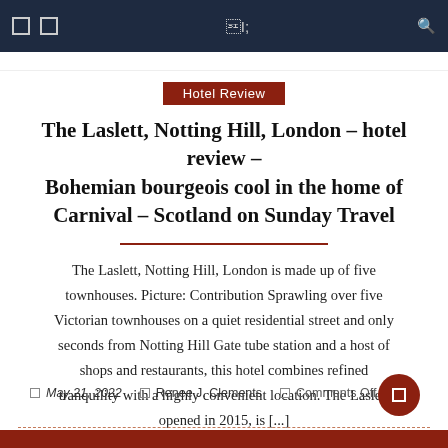Navigation header with icons and search
Hotel Review
The Laslett, Notting Hill, London – hotel review – Bohemian bourgeois cool in the home of Carnival – Scotland on Sunday Travel
The Laslett, Notting Hill, London is made up of five townhouses. Picture: Contribution Sprawling over five Victorian townhouses on a quiet residential street and only seconds from Notting Hill Gate tube station and a host of shops and restaurants, this hotel combines refined tranquility with a highly convenient location. The Laslett opened in 2015, is [...]
May 21, 2022   Renee J. Clements   Comments Off